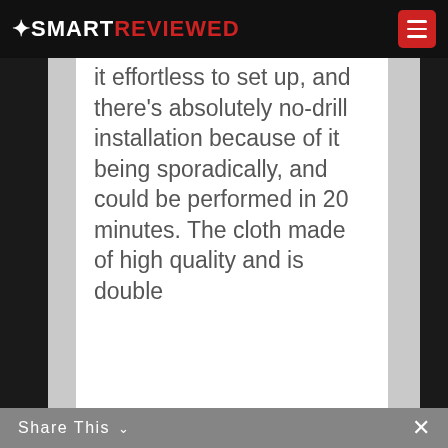SMART REVIEWED
it effortless to set up, and there's absolutely no-drill installation because of it being sporadically, and could be performed in 20 minutes. The cloth made of high quality and is double
Share This ∨ ×